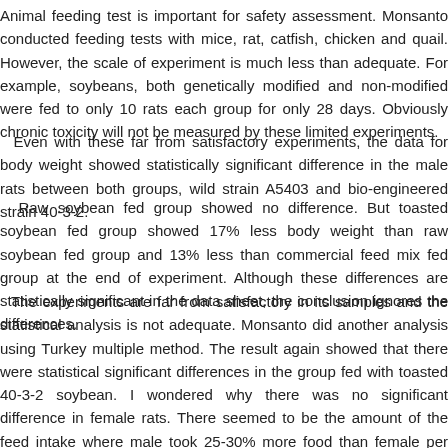Animal feeding test is important for safety assessment. Monsanto conducted feeding tests with mice, rat, catfish, chicken and quail. However, the scale of experiment is much less than adequate. For example, soybeans, both genetically modified and non-modified were fed to only 10 rats each group for only 28 days. Obviously chronic toxicity will not be measured by these limited experiments.
Even with these far from satisfactory experiments, the data for body weight showed statistically significant difference in the male rats between both groups, wild strain A5403 and bio-engineered strain 40-3-2.
Raw soybean fed group showed no difference. But toasted soybean fed group showed 17% less body weight than raw soybean fed group and 13% less than commercial feed mix fed group at the end of experiment. Although these differences are statistically significant in the data sheet, the conclusion ignores the differences.
The experiments are far from satisfactory in its samples and the statistical analysis is not adequate. Monsanto did another analysis using Turkey multiple method. The result again showed that there were statistical significant differences in the group fed with toasted 40-3-2 soybean. I wondered why there was no significant difference in female rats. There seemed to be the amount of the feed intake where male took 25-30% more food than female per body weight. It is possible that female rats also showed significant growth differences if the experiments were carried out for longer period..